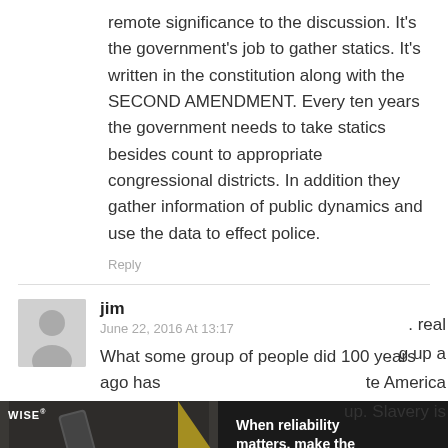remote significance to the discussion. It's the government's job to gather statics. It's written in the constitution along with the SECOND AMENDMENT. Every ten years the government needs to take statics besides count to appropriate congressional districts. In addition they gather information of public dynamics and use the data to effect police.
Reply
jim
June 22, 2016 At 13:17
What some group of people did 100 years ago has . real g up a te America up. Slavery is
[Figure (photo): Advertisement banner showing firearms/gun parts with text: WISE logo, 'When reliability matters, make the wise choice.' and 'Shop Dealers' button]